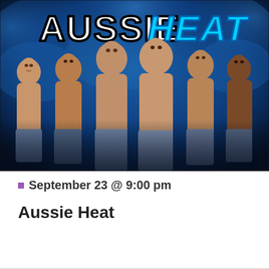[Figure (photo): Promotional photo for Aussie Heat show featuring six shirtless muscular men posed against a blue smoky background with the text 'AUSSIE HEAT' in large stylized letters at the top.]
September 23 @ 9:00 pm
Aussie Heat